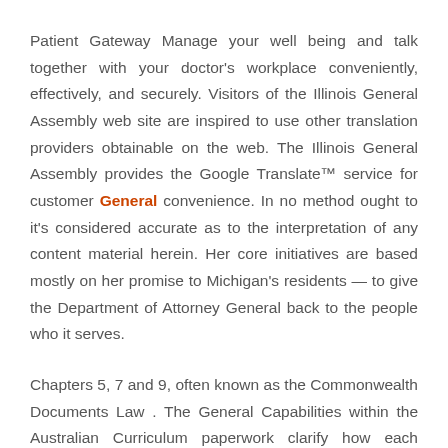Patient Gateway Manage your well being and talk together with your doctor's workplace conveniently, effectively, and securely. Visitors of the Illinois General Assembly web site are inspired to use other translation providers obtainable on the web. The Illinois General Assembly provides the Google Translate™ service for customer General convenience. In no method ought to it's considered accurate as to the interpretation of any content material herein. Her core initiatives are based mostly on her promise to Michigan's residents — to give the Department of Attorney General back to the people who it serves.
Chapters 5, 7 and 9, often known as the Commonwealth Documents Law . The General Capabilities within the Australian Curriculum paperwork clarify how each studying area addresses all the general capabilities. Learning continua typically, however not exclusively, align with years of education. Stages in each studying continuum are labelled from Levels 1 to six to emphasise